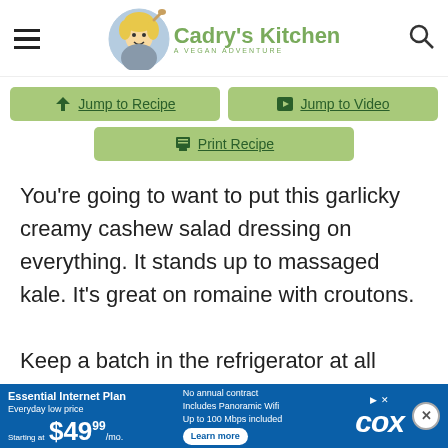Cadry's Kitchen — A Vegan Adventure
[Figure (screenshot): Navigation buttons: Jump to Recipe, Jump to Video, Print Recipe]
You're going to want to put this garlicky creamy cashew salad dressing on everything. It stands up to massaged kale. It's great on romaine with croutons.

Keep a batch in the refrigerator at all times, and watch as your salad intake incre…
[Figure (screenshot): Cox advertisement banner: Essential Internet Plan, Everyday low price, Starting at $49.99/mo. No annual contract, Includes Panoramic Wifi, Up to 100 Mbps included. Learn more. COX logo.]